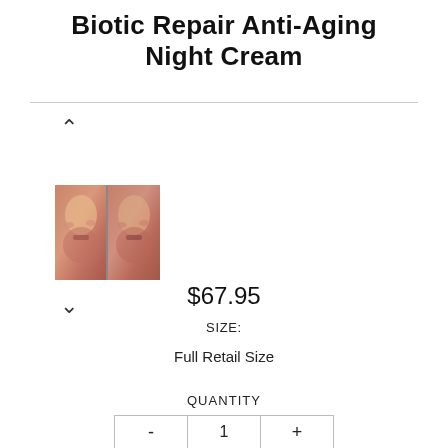Biotic Repair Anti-Aging Night Cream
[Figure (photo): Thumbnail image showing a split before/after photo of a woman's face for the Biotic Repair Anti-Aging Night Cream product]
$67.95
SIZE:
Full Retail Size
QUANTITY
| - | 1 | + |
| --- | --- | --- |